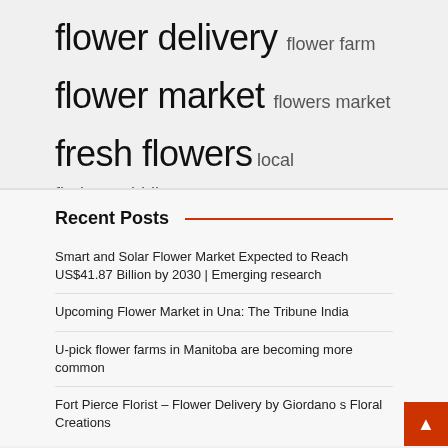flower delivery  flower farm  flower market  flowers market  fresh flowers  local florists  middle east  online flower  united states
Recent Posts
Smart and Solar Flower Market Expected to Reach US$41.87 Billion by 2030 | Emerging research
Upcoming Flower Market in Una: The Tribune India
U-pick flower farms in Manitoba are becoming more common
Fort Pierce Florist – Flower Delivery by Giordano s Floral Creations